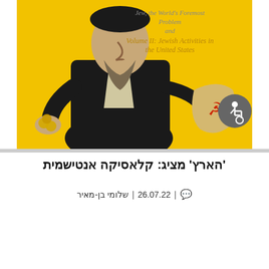[Figure (illustration): Antisemitic book cover illustration showing a caricatured figure in black coat holding coins, with a hammer-and-sickle emblem. Yellow background. Text reads: 'Jew, the World's Foremost Problem and Volume II: Jewish Activities in the United States'. Accessibility icon (wheelchair symbol) in grey circle top right.]
'הארץ' מציג: קלאסיקה אנטישמית
שלומי בן-מאיר | 26.07.22 | 💬